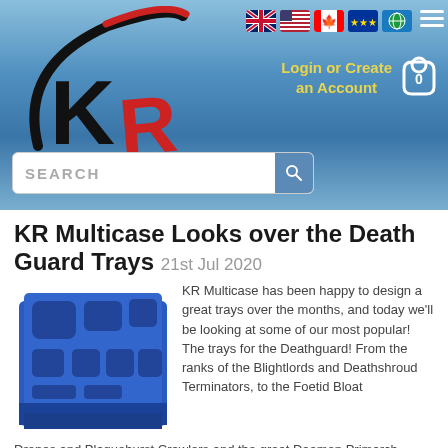[Figure (logo): KR Multicase logo with curved K and red R letters]
[Figure (infographic): UK, US, Canada, EU, and world flag icons for language/region selection, plus hamburger menu]
Login or Create an Account
[Figure (infographic): Shopping cart icon with 0 items]
SEARCH
KR Multicase Looks over the Death Guard Trays 21st Jul 2020
[Figure (photo): Blue foam tray with cutouts for Death Guard miniatures]
KR Multicase has been happy to design a great trays over the months, and today we'll be looking at some of our most popular! The trays for the Deathguard! From the ranks of the Blightlords and Deathshroud Terminators, to the Foetid Bloat Drones and Plagueburst Crawlers and the great Daemon Primarch Mortarion, we have trays for the armies of the Plague Father!